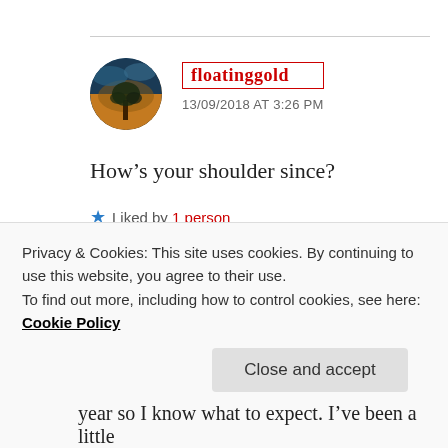[Figure (photo): Circular avatar image showing a tree silhouette against a dramatic sky with blue and orange tones]
floatinggold
13/09/2018 AT 3:26 PM
How’s your shoulder since?
★ Liked by 1 person
[Figure (photo): Partial circular avatar image (cut off)]
Privacy & Cookies: This site uses cookies. By continuing to use this website, you agree to their use.
To find out more, including how to control cookies, see here: Cookie Policy
Close and accept
year so I know what to expect. I’ve been a little